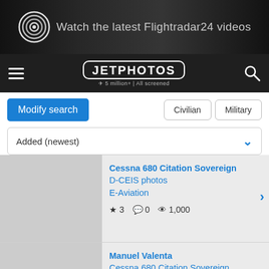[Figure (screenshot): Advertisement banner for Flightradar24 videos with airplane image and target icon]
[Figure (logo): JetPhotos logo - 5 million+ | All screened, with hamburger menu and search icon on dark navbar]
Modify search | Civilian | Military
Added (newest)
Cessna 680 Citation Sovereign
D-CEIS photos
E-Aviation
★ 3  💬 0  👁 1,000
Manuel Valenta
Cessna 680 Citation Sovereign
D-CEIS photos
E-Aviation
★ 0  💬 0  👁 1,202